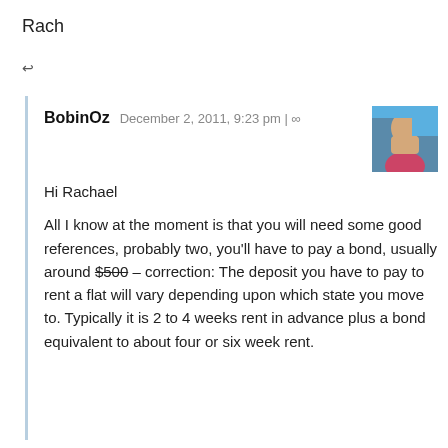Rach
↩
BobinOz  December 2, 2011, 9:23 pm | ∞
Hi Rachael

All I know at the moment is that you will need some good references, probably two, you'll have to pay a bond, usually around $500 – correction: The deposit you have to pay to rent a flat will vary depending upon which state you move to. Typically it is 2 to 4 weeks rent in advance plus a bond equivalent to about four or six week rent.